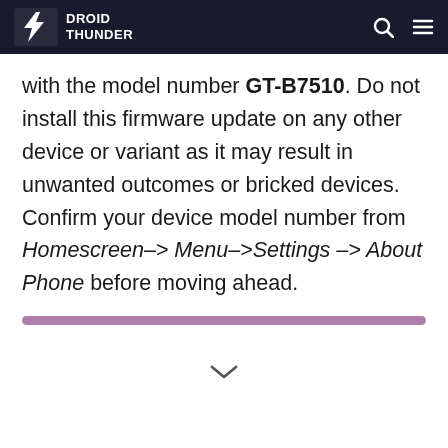Droid Thunder
with the model number GT-B7510. Do not install this firmware update on any other device or variant as it may result in unwanted outcomes or bricked devices. Confirm your device model number from Homescreen-> Menu->Settings -> About Phone before moving ahead.